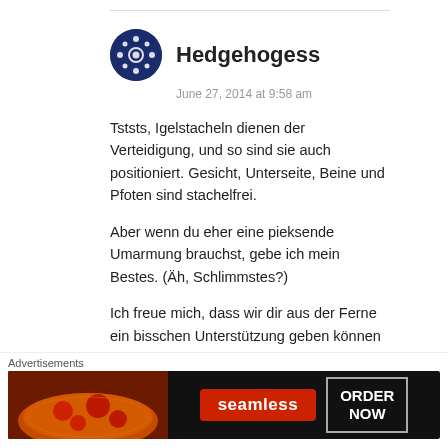Hedgehogess — June 27, 2014 at 9:58 am
Tststs, Igelstacheln dienen der Verteidigung, und so sind sie auch positioniert. Gesicht, Unterseite, Beine und Pfoten sind stachelfrei.
Aber wenn du eher eine pieksende Umarmung brauchst, gebe ich mein Bestes. (Äh, Schlimmstes?)
Ich freue mich, dass wir dir aus der Ferne ein bisschen Unterstützung geben können
Advertisements